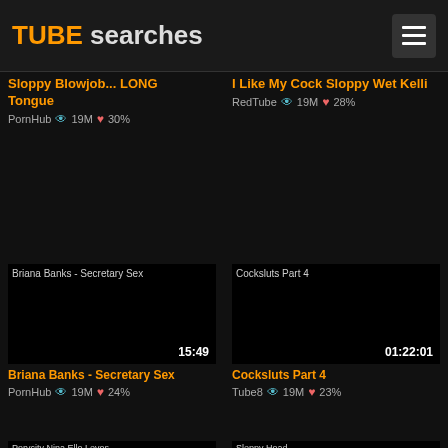TUBE searches
Sloppy Blowjob... LONG Tongue — PornHub 19M 30%
I Like My Cock Sloppy Wet Kelli — RedTube 19M 28%
Briana Banks - Secretary Sex — PornHub 19M 24% — 15:49
Cocksluts Part 4 — Tube8 19M 23% — 01:22:01
Pervcity Nina Elle Loves Giving Deep Sloppy — 12:06
Sloppy Head — 03:17